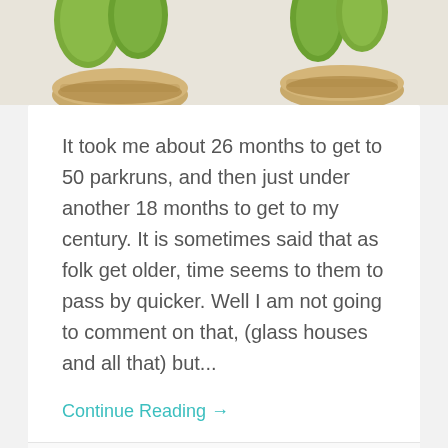[Figure (photo): Top portion of a food photo showing small round crackers or biscuits topped with green grapes or kiwi slices, on a light background.]
It took me about 26 months to get to 50 parkruns, and then just under another 18 months to get to my century. It is sometimes said that as folk get older, time seems to them to pass by quicker. Well I am not going to comment on that, (glass houses and all that) but...
Continue Reading →
18 May, 2019   1
parkrun 050 and St Andrew's Day